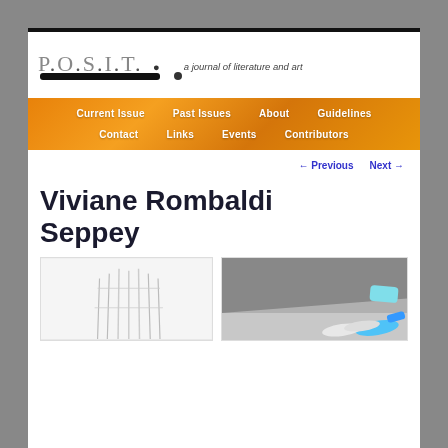P.O.S.I.T. · a journal of literature and art
Current Issue | Past Issues | About | Guidelines | Contact | Links | Events | Contributors
← Previous   Next →
Viviane Rombaldi Seppey
[Figure (photo): Left: white sculpture or vertical wire forms against white background]
[Figure (photo): Right: small shoes and objects on grey floor surface]